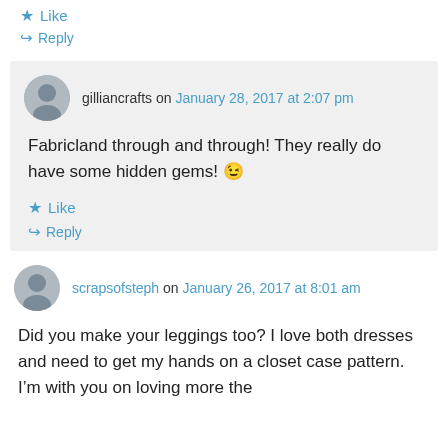★ Like
↳ Reply
gilliancrafts on January 28, 2017 at 2:07 pm
Fabricland through and through! They really do have some hidden gems! 😉
★ Like
↳ Reply
scrapsofsteph on January 26, 2017 at 8:01 am
Did you make your leggings too? I love both dresses and need to get my hands on a closet case pattern. I'm with you on loving more the